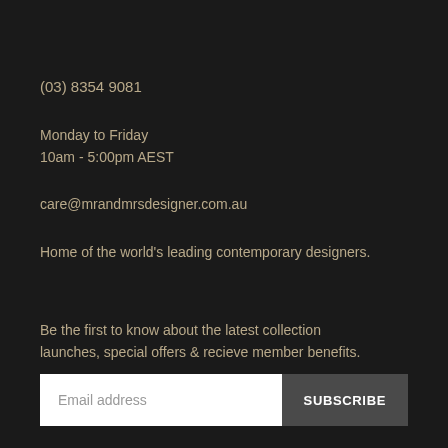(03) 8354 9081
Monday to Friday
10am - 5:00pm AEST
care@mrandmrsdesigner.com.au
Home of the world's leading contemporary designers.
Be the first to know about the latest collection launches, special offers & recieve member benefits.
[Figure (other): Email subscription form with text input field labeled 'Email address' and a 'SUBSCRIBE' button]